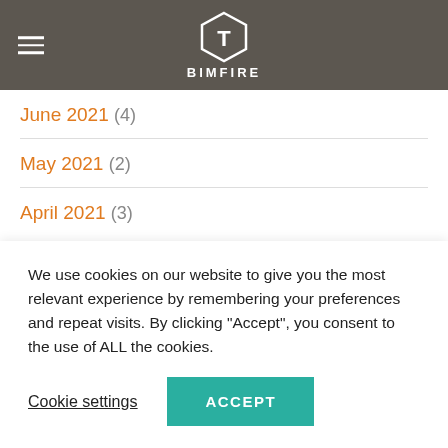BIMFIRE
June 2021 (4)
May 2021 (2)
April 2021 (3)
Follow Bimfire on social media to get the latest news
We use cookies on our website to give you the most relevant experience by remembering your preferences and repeat visits. By clicking “Accept”, you consent to the use of ALL the cookies.
Cookie settings  ACCEPT